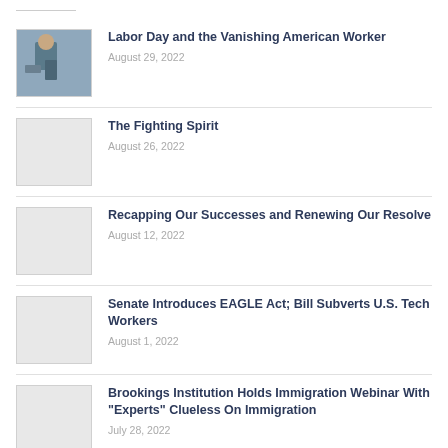Labor Day and the Vanishing American Worker
August 29, 2022
The Fighting Spirit
August 26, 2022
Recapping Our Successes and Renewing Our Resolve
August 12, 2022
Senate Introduces EAGLE Act; Bill Subverts U.S. Tech Workers
August 1, 2022
Brookings Institution Holds Immigration Webinar With "Experts" Clueless On Immigration
July 28, 2022
Brookings Institution Holds Immigration Webinar With "Experts" Clueless On Immigration
July 15, 2022